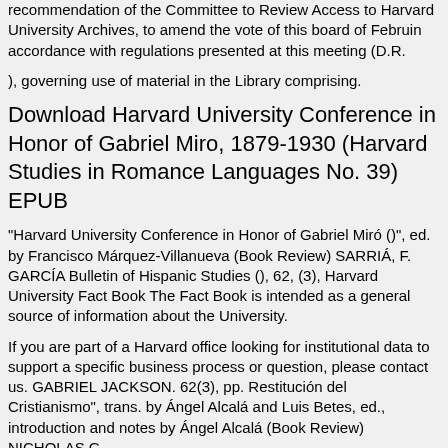recommendation of the Committee to Review Access to Harvard University Archives, to amend the vote of this board of Februin accordance with regulations presented at this meeting (D.R.
), governing use of material in the Library comprising.
Download Harvard University Conference in Honor of Gabriel Miro, 1879-1930 (Harvard Studies in Romance Languages No. 39) EPUB
"Harvard University Conference in Honor of Gabriel Miró ()", ed. by Francisco Márquez-Villanueva (Book Review) SARRIÁ, F. GARCÍA Bulletin of Hispanic Studies (), 62, (3), Harvard University Fact Book The Fact Book is intended as a general source of information about the University.
If you are part of a Harvard office looking for institutional data to support a specific business process or question, please contact us. GABRIEL JACKSON. 62(3), pp. Restitución del Cristianismo", trans. by Ángel Alcalá and Luis Betes, ed., introduction and notes by Ángel Alcalá (Book Review) NICHOLAS G.
ROUND. 62(3), pp. "Harvard University Conference in Honor o